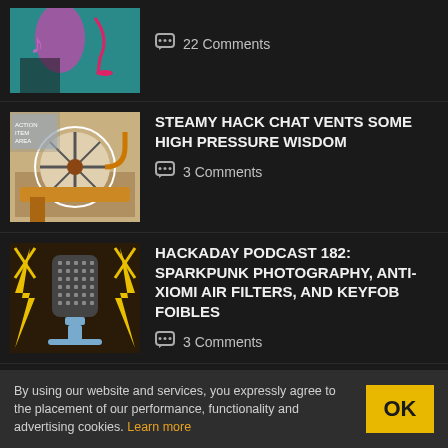22 Comments
STEAMY HACK CHAT VENTS SOME HIGH PRESSURE WISDOM
3 Comments
HACKADAY PODCAST 182: SPARKPUNK PHOTOGRAPHY, ANTI-XIOMI AIR FILTERS, AND KEYFOB FOIBLES
3 Comments
THIS WEEK IN SECURITY:
By using our website and services, you expressly agree to the placement of our performance, functionality and advertising cookies. Learn more